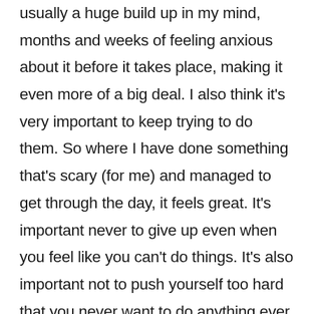usually a huge build up in my mind, months and weeks of feeling anxious about it before it takes place, making it even more of a big deal. I also think it's very important to keep trying to do them. So where I have done something that's scary (for me) and managed to get through the day, it feels great. It's important never to give up even when you feel like you can't do things. It's also important not to push yourself too hard that you never want to do anything ever again. Another difficult aspect is when people who don't understand, don't TRY to understand or have no empathy. It can feel very isolating and disheartening."